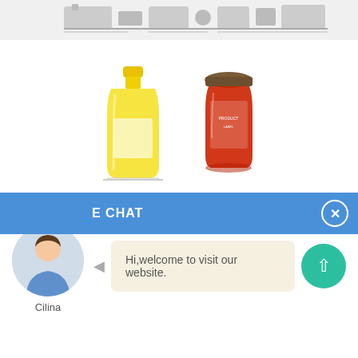[Figure (photo): Machine strip at top of page showing industrial filling/packaging equipment]
[Figure (photo): Two product images: a yellow sunflower oil bottle on the left and a red sauce/jam jar on the right]
Sunflower Oil Machine-China Sunflower Oil Machine ...
China Sunflower Oil Machine – Select 2020 Sunflower Oil Machine products from verified China Sunflower Oil
[Figure (screenshot): Blue live chat bar with text 'E CHAT' and a close button (X circle) on the right]
[Figure (screenshot): Chat widget: avatar photo of woman named Cilina on left, chat bubble saying 'Hi,welcome to visit our website.' in center, and teal scroll-to-top button on right]